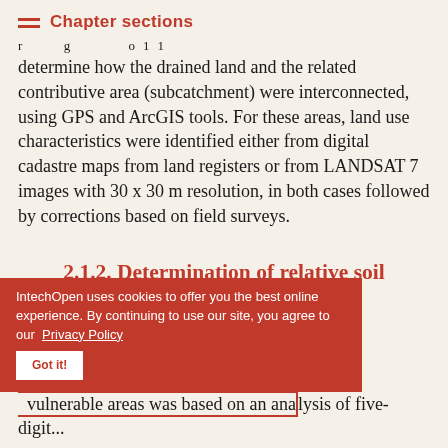Chapter sections
determine how the drained land and the related contributive area (subcatchment) were interconnected, using GPS and ArcGIS tools. For these areas, land use characteristics were identified either from digital cadastre maps from land registers or from LANDSAT 7 images with 30 x 30 m resolution, in both cases followed by corrections based on field surveys.
2.1.2. Determination of relative soil infiltration vulnerability
The determination of relative soil infiltration vulnerability and the delineation of infiltration-vulnerable areas was based on an analysis of five-digit...